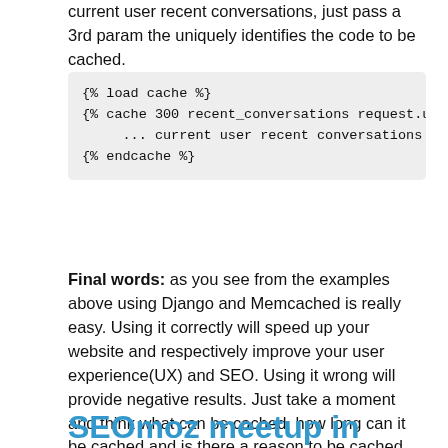current user recent conversations, just pass a 3rd param the uniquely identifies the code to be cached.
{% load cache %}
{% cache 300 recent_conversations request.user.id
    ... current user recent conversations - cache
{% endcache %}
Final words: as you see from the examples above using Django and Memcached is really easy. Using it correctly will speed up your website and respectively improve your user experience(UX) and SEO. Using it wrong will provide negative results. Just take a moment and think what can be cached, how long can it be cached and is there a reason to be cached. Try to avoid double caching - there is no need to use caching in templates and then cache the rendered template in the view too.
SEOmoz meetup in Sofia,